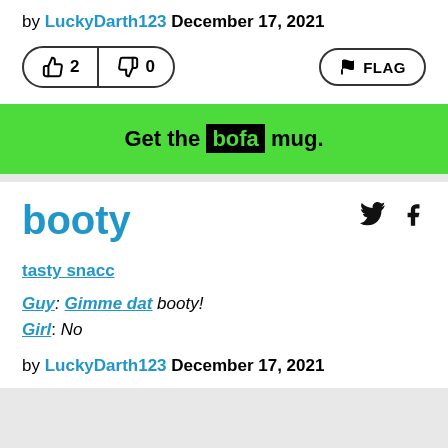by LuckyDarth123 December 17, 2021
[Figure (infographic): Vote buttons (thumbs up: 2, thumbs down: 0) and FLAG button]
[Figure (infographic): Green banner with text: Get the bofa mug.]
booty
tasty snacc
Guy: Gimme dat booty!
Girl: No
by LuckyDarth123 December 17, 2021